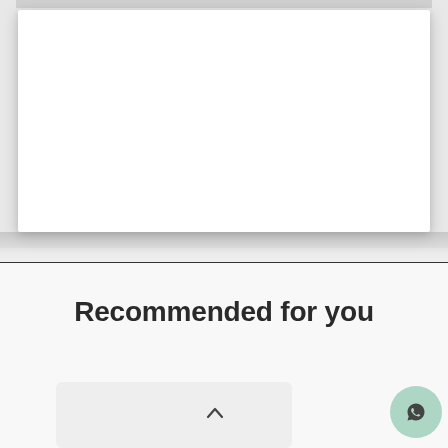[Figure (screenshot): White card / content panel against a light grey background, with a shadow beneath it and a grey bar at the top edge]
Recommended for you
[Figure (screenshot): A partial product card row with a chevron-up icon in the center, and a WhatsApp floating action button on the right]